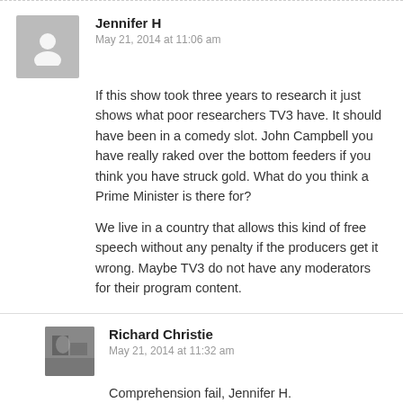[Figure (illustration): Gray placeholder avatar icon for user Jennifer H]
Jennifer H
May 21, 2014 at 11:06 am
If this show took three years to research it just shows what poor researchers TV3 have. It should have been in a comedy slot. John Campbell you have really raked over the bottom feeders if you think you have struck gold. What do you think a Prime Minister is there for?
We live in a country that allows this kind of free speech without any penalty if the producers get it wrong. Maybe TV3 do not have any moderators for their program content.
[Figure (photo): Small grayscale photo avatar for Richard Christie]
Richard Christie
May 21, 2014 at 11:32 am
Comprehension fail, Jennifer H.
No one said the programme took three years to